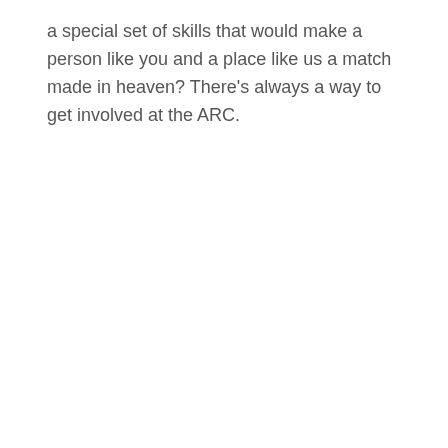a special set of skills that would make a person like you and a place like us a match made in heaven? There’s always a way to get involved at the ARC.